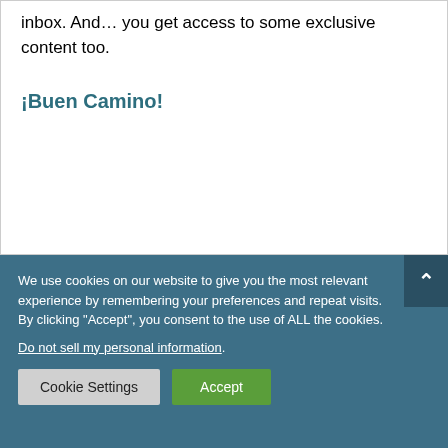inbox. And… you get access to some exclusive content too.
¡Buen Camino!
We use cookies on our website to give you the most relevant experience by remembering your preferences and repeat visits. By clicking "Accept", you consent to the use of ALL the cookies.
Do not sell my personal information.
Cookie Settings  Accept